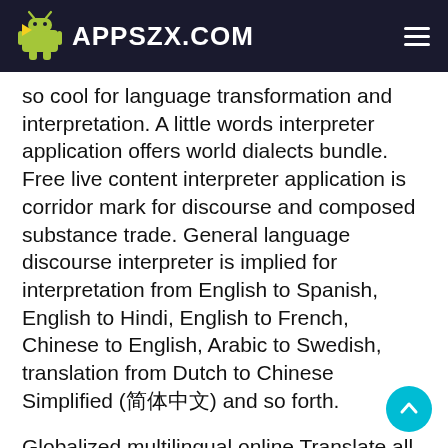APPSZX.COM
so cool for language transformation and interpretation. A little words interpreter application offers world dialects bundle. Free live content interpreter application is corridor mark for discourse and composed substance trade. General language discourse interpreter is implied for interpretation from English to Spanish, English to Hindi, English to French, Chinese to English, Arabic to Swedish, translation from Dutch to Chinese Simplified (简体中文) and so forth.
Globalized multilingual online Translate all langue – Voice content interpreter application is sharp analyst and language interpreter camera which look through its language stockpiling potential and changes the expression into the requested